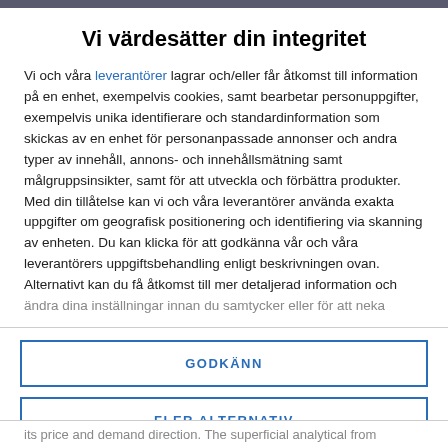Vi värdesätter din integritet
Vi och våra leverantörer lagrar och/eller får åtkomst till information på en enhet, exempelvis cookies, samt bearbetar personuppgifter, exempelvis unika identifierare och standardinformation som skickas av en enhet för personanpassade annonser och andra typer av innehåll, annons- och innehållsmätning samt målgruppsinsikter, samt för att utveckla och förbättra produkter. Med din tillåtelse kan vi och våra leverantörer använda exakta uppgifter om geografisk positionering och identifiering via skanning av enheten. Du kan klicka för att godkänna vår och våra leverantörers uppgiftsbehandling enligt beskrivningen ovan. Alternativt kan du få åtkomst till mer detaljerad information och ändra dina inställningar innan du samtycker eller för att neka
GODKÄNN
FLER ALTERNATIV
its price and demand direction. The superficial analytical from